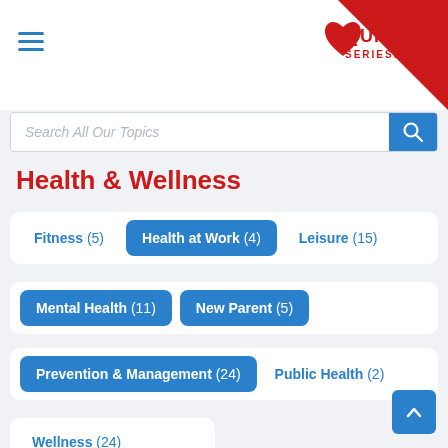[Figure (logo): Quick Series logo with red heart/shield shape and brand name, with red triangle corner decoration]
Search All Our Topics
Health & Wellness
Fitness (5)
Health at Work (4)
Leisure (15)
Mental Health (11)
New Parent (5)
Prevention & Management (24)
Public Health (2)
Wellness (24)